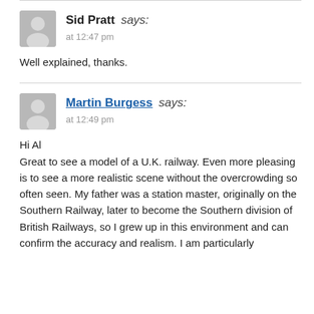Sid Pratt says: at 12:47 pm
Well explained, thanks.
Martin Burgess says: at 12:49 pm
Hi Al Great to see a model of a U.K. railway. Even more pleasing is to see a more realistic scene without the overcrowding so often seen. My father was a station master, originally on the Southern Railway, later to become the Southern division of British Railways, so I grew up in this environment and can confirm the accuracy and realism. I am particularly